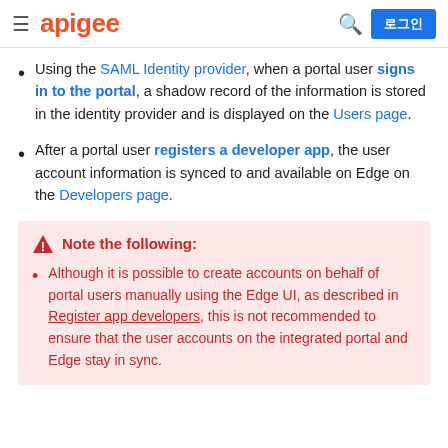apigee | 로그인
Using the SAML Identity provider, when a portal user signs in to the portal, a shadow record of the information is stored in the identity provider and is displayed on the Users page.
After a portal user registers a developer app, the user account information is synced to and available on Edge on the Developers page.
Note the following: Although it is possible to create accounts on behalf of portal users manually using the Edge UI, as described in Register app developers, this is not recommended to ensure that the user accounts on the integrated portal and Edge stay in sync.